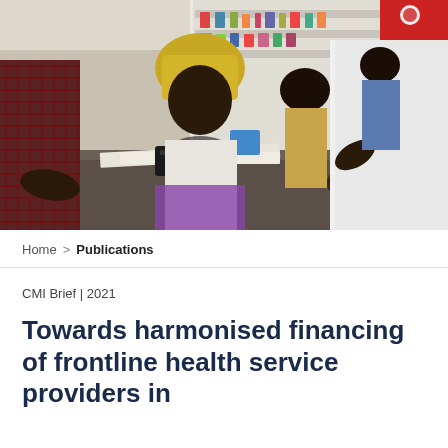[Figure (photo): A healthcare or pharmacy setting in Africa. A woman in a yellow headscarf and patterned dress sits across a counter from a person in a white coat writing on paper. Other people are visible in the background near shelves stocked with products.]
Home > Publications
CMI Brief | 2021
Towards harmonised financing of frontline health service providers in Tanzania